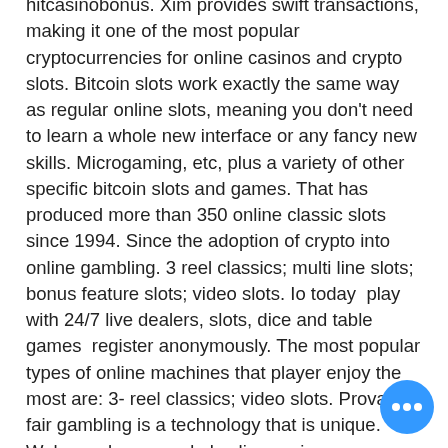hitcasinobonus. Xim provides swift transactions, making it one of the most popular cryptocurrencies for online casinos and crypto slots. Bitcoin slots work exactly the same way as regular online slots, meaning you don't need to learn a whole new interface or any fancy new skills. Microgaming, etc, plus a variety of other specific bitcoin slots and games. That has produced more than 350 online classic slots since 1994. Since the adoption of crypto into online gambling. 3 reel classics; multi line slots; bonus feature slots; video slots. Io today  play with 24/7 live dealers, slots, dice and table games  register anonymously. The most popular types of online machines that player enjoy the most are: 3- reel classics; video slots. Provably fair gambling is a technology that is unique. Welcome bonus and play live casino games, slots and table games! Slot games slots as this gaming destination believes in rewarding
[Figure (other): Blue circular floating action button with three white dots (ellipsis) in the bottom right corner]